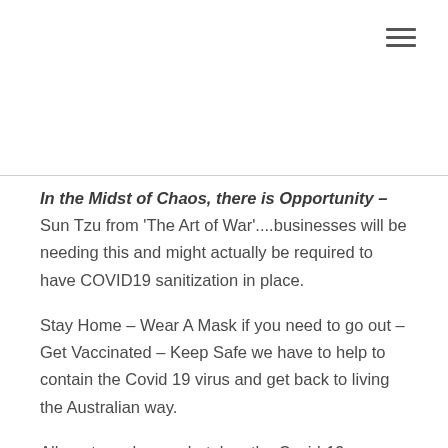[Figure (other): Hamburger menu icon with three horizontal lines in top-right corner]
In the Midst of Chaos, there is Opportunity – Sun Tzu from 'The Art of War'....businesses will be needing this and might actually be required to have COVID19 sanitization in place.
Stay Home – Wear A Mask if you need to go out – Get Vaccinated – Keep Safe we have to help to contain the Covid 19 virus and get back to living the Australian way.
All our team has undertaken the Covid-19